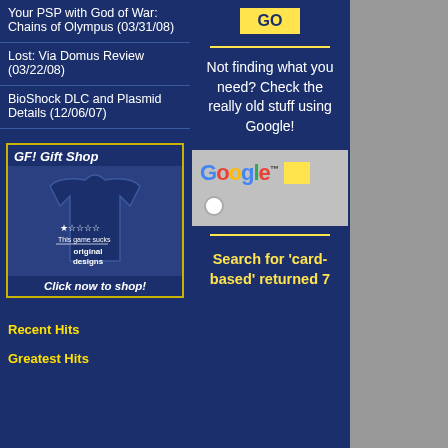Your PSP with God of War: Chains of Olympus (03/31/08)
Lost: Via Domus Review (03/22/08)
BioShock DLC and Plasmid Details (12/06/07)
[Figure (other): GF! Gift Shop advertisement with a navy blue t-shirt showing 'This game sucks' and star ratings, with text 'original designs' and 'Click now to shop!']
Recent Hits
Greatest Hits
GO
Not finding what you need? Check the really old stuff using Google!
[Figure (other): Google search widget with Google logo and search input]
Search for 'card-based' returned 7